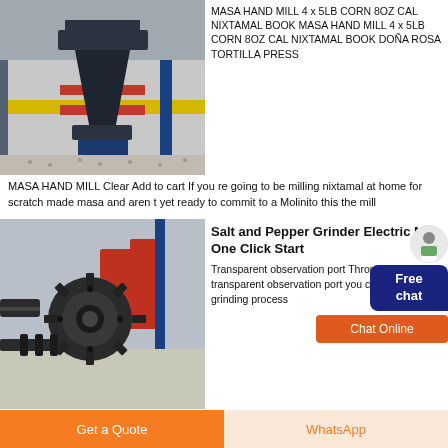[Figure (photo): Industrial cone crusher machine in a factory setting with yellow, red and blue structural beams in background]
MASA HAND MILL 4 x 5LB CORN 8OZ CAL NIXTAMAL BOOK MASA HAND MILL 4 x 5LB CORN 8OZ CAL NIXTAMAL BOOK DOÑA ROSA TORTILLA PRESS
MASA HAND MILL Clear Add to cart If you re going to be milling nixtamal at home for scratch made masa and aren t yet ready to commit to a Molinito this the mill
[Figure (photo): Close-up of a large industrial gear/sprocket component in a factory setting with red machinery in background]
Salt and Pepper Grinder Electric Mill One Click Start
Transparent observation port Through the transparent observation port you can observe the grinding process